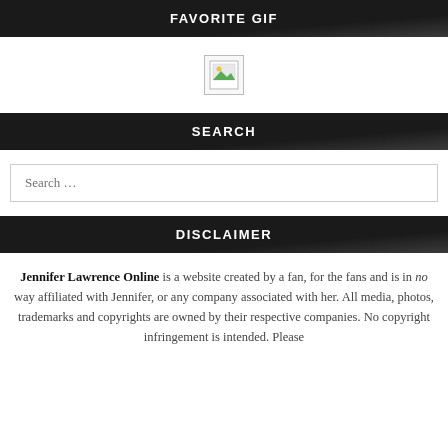FAVORITE GIF
[Figure (illustration): Broken/missing image placeholder icon — small square with image icon]
SEARCH
Search ...
DISCLAIMER
Jennifer Lawrence Online is a website created by a fan, for the fans and is in no way affiliated with Jennifer, or any company associated with her. All media, photos, trademarks and copyrights are owned by their respective companies. No copyright infringement is intended. Please